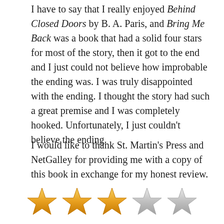I have to say that I really enjoyed Behind Closed Doors by B. A. Paris, and Bring Me Back was a book that had a solid four stars for most of the story, then it got to the end and I just could not believe how improbable the ending was. I was truly disappointed with the ending. I thought the story had such a great premise and I was completely hooked. Unfortunately, I just couldn't believe the ending.
I would like to thank St. Martin's Press and NetGalley for providing me with a copy of this book in exchange for my honest review.
[Figure (other): Three gold filled stars and two silver/empty stars representing a 3 out of 5 star rating]